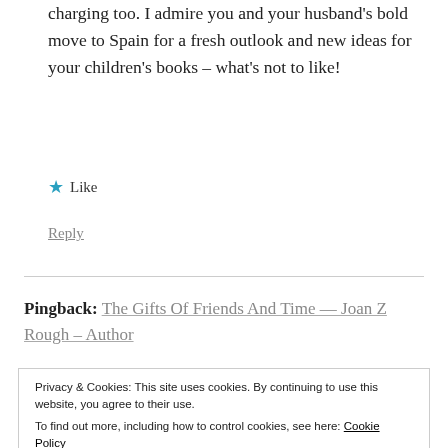charging too. I admire you and your husband’s bold move to Spain for a fresh outlook and new ideas for your children’s books – what’s not to like!
★ Like
Reply
Pingback: The Gifts Of Friends And Time — Joan Z Rough – Author
Privacy & Cookies: This site uses cookies. By continuing to use this website, you agree to their use.
To find out more, including how to control cookies, see here: Cookie Policy
Close and accept